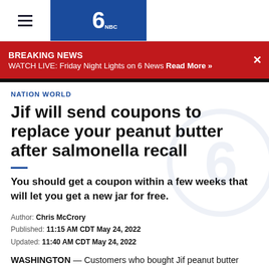KABC 6 News - hamburger menu and logo
BREAKING NEWS
WATCH LIVE: Friday Night Lights on 6 News Read More »
NATION WORLD
Jif will send coupons to replace your peanut butter after salmonella recall
You should get a coupon within a few weeks that will let you get a new jar for free.
Author: Chris McCrory
Published: 11:15 AM CDT May 24, 2022
Updated: 11:40 AM CDT May 24, 2022
WASHINGTON — Customers who bought Jif peanut butter